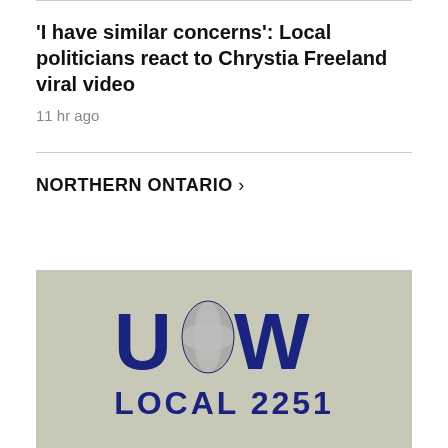'I have similar concerns': Local politicians react to Chrystia Freeland viral video
11 hr ago
NORTHERN ONTARIO >
[Figure (photo): Close-up photo of a grey concrete or metal surface with the USW (United Steelworkers) logo and text 'LOCAL 2251' in dark navy blue]